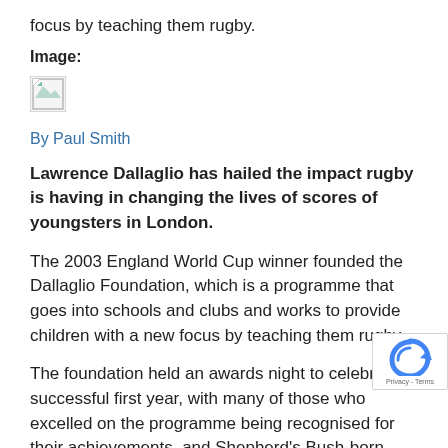focus by teaching them rugby.
Image:
[Figure (other): Broken image icon placeholder]
By Paul Smith
Lawrence Dallaglio has hailed the impact rugby is having in changing the lives of scores of youngsters in London.
The 2003 England World Cup winner founded the Dallaglio Foundation, which is a programme that goes into schools and clubs and works to provide children with a new focus by teaching them rugby.
The foundation held an awards night to celebrate a successful first year, with many of those who excelled on the programme being recognised for their achievements, and Shepherd's Bush-born Dallaglio is full of pride at the work being done.